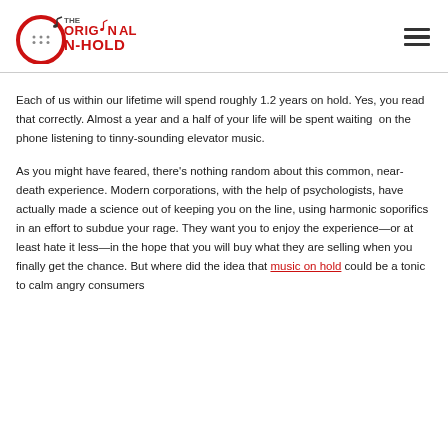The Original On-Hold [logo]
Each of us within our lifetime will spend roughly 1.2 years on hold. Yes, you read that correctly. Almost a year and a half of your life will be spent waiting on the phone listening to tinny-sounding elevator music.
As you might have feared, there’s nothing random about this common, near-death experience. Modern corporations, with the help of psychologists, have actually made a science out of keeping you on the line, using harmonic soporifics in an effort to subdue your rage. They want you to enjoy the experience—or at least hate it less—in the hope that you will buy what they are selling when you finally get the chance. But where did the idea that music on hold could be a tonic to calm angry consumers